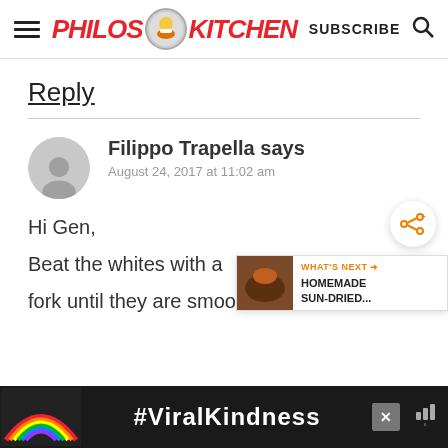PhilosoKitchen — SUBSCRIBE
Reply
Filippo Trapella says
August 24, 2017 at 11:02 am
Hi Gen,
Beat the whites with a fork until they are smooth